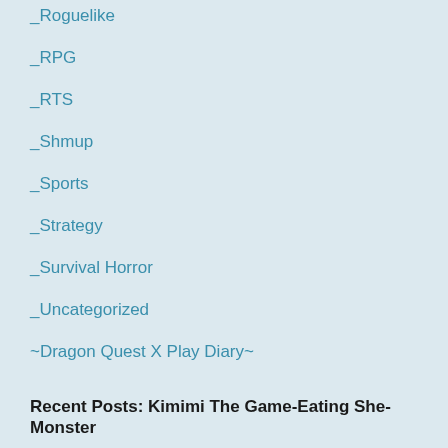_Roguelike
_RPG
_RTS
_Shmup
_Sports
_Strategy
_Survival Horror
_Uncategorized
~Dragon Quest X Play Diary~
~Reviews~
Recent Posts: Kimimi The Game-Eating She-Monster